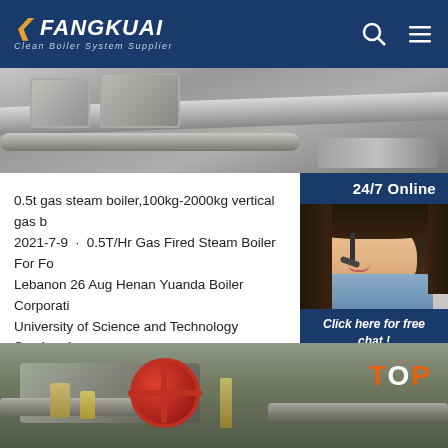FANGKUAI — Clean Boiler System Supplier
[Figure (photo): Industrial boiler/pipe machinery photo strip at top]
0.5t gas steam boiler,100kg-2000kg vertical gas b...
2021-7-9 · 0.5T/Hr Gas Fired Steam Boiler For Fo...
Lebanon 26 Aug Henan Yuanda Boiler Corporati...
University of Science and Technology Seminar In...
[Figure (photo): 24/7 Online chat agent — woman with headset]
Get Price
Click here for free chat !
QUOTATION
[Figure (photo): Industrial boiler valve and pipe fittings photo at bottom with TOP badge]